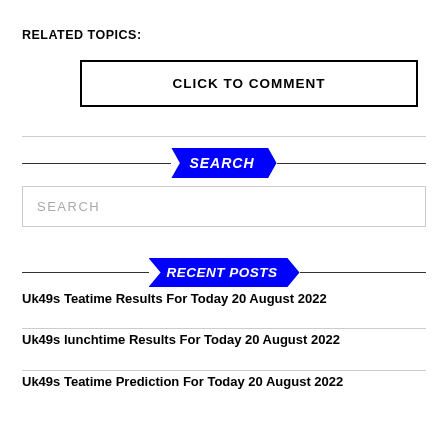RELATED TOPICS:
CLICK TO COMMENT
SEARCH
SEARCH
RECENT POSTS
Uk49s Teatime Results For Today 20 August 2022
Uk49s lunchtime Results For Today 20 August 2022
Uk49s Teatime Prediction For Today 20 August 2022